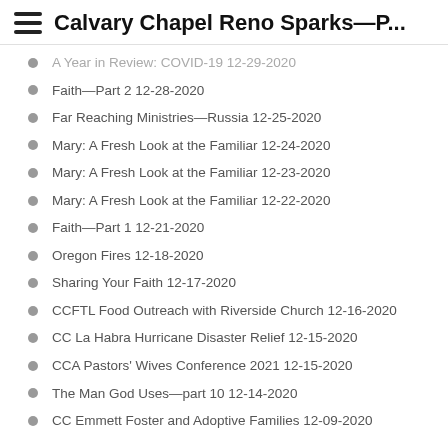Calvary Chapel Reno Sparks—P...
A Year in Review: COVID-19 12-29-2020
Faith—Part 2 12-28-2020
Far Reaching Ministries—Russia 12-25-2020
Mary: A Fresh Look at the Familiar 12-24-2020
Mary: A Fresh Look at the Familiar 12-23-2020
Mary: A Fresh Look at the Familiar 12-22-2020
Faith—Part 1 12-21-2020
Oregon Fires 12-18-2020
Sharing Your Faith 12-17-2020
CCFTL Food Outreach with Riverside Church 12-16-2020
CC La Habra Hurricane Disaster Relief 12-15-2020
CCA Pastors' Wives Conference 2021 12-15-2020
The Man God Uses—part 10 12-14-2020
CC Emmett Foster and Adoptive Families 12-09-2020